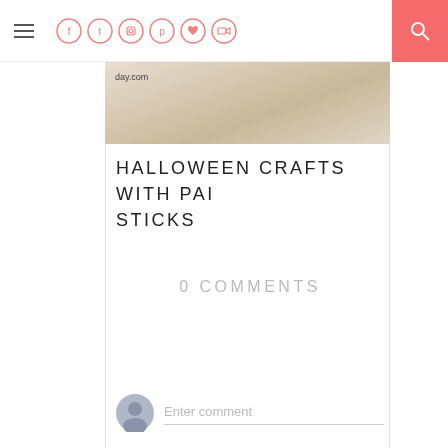Navigation bar with hamburger menu, social icons, and search
[Figure (photo): Partial photo of craft materials with watermark text 'day.com']
HALLOWEEN CRAFTS WITH PAIN STICKS
0 COMMENTS
Enter comment